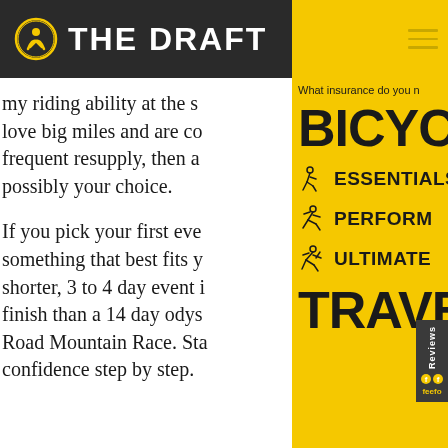THE DRAFT
my riding ability at the s love big miles and are co frequent resupply, then a possibly your choice.
If you pick your first eve something that best fits y shorter, 3 to 4 day event finish than a 14 day odys Road Mountain Race. Sta confidence step by step.
What insurance do you n
BICYCL
ESSENTIALS
PERFORM
ULTIMATE
TRAVEL